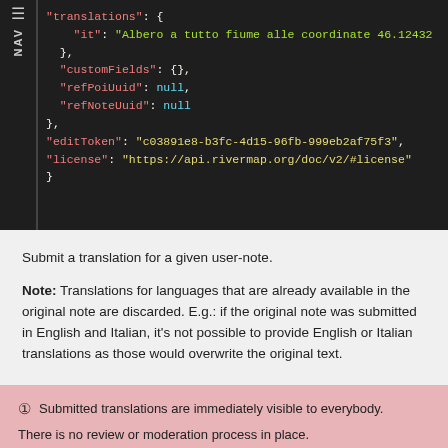[Figure (screenshot): Code block showing JSON with fields: translations (it), customFields, refPoiUuid, refNoteUuid, editToken, license, on dark background with NAV sidebar]
Submit a translation for a given user-note.
Note: Translations for languages that are already available in the original note are discarded. E.g.: if the original note was submitted in English and Italian, it's not possible to provide English or Italian translations as those would overwrite the original text.
⓵ Submitted translations are immediately visible to everybody. There is no review or moderation process in place. If your system is letting users submit translations please ensure that proper checks and validations are in place to keep spammers, bots...